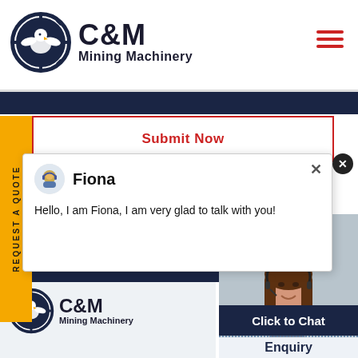[Figure (logo): C&M Mining Machinery logo with eagle-gear icon and company name]
[Figure (screenshot): Website screenshot showing Submit Now button, chat popup with Fiona, customer service representative photo, Click to Chat button, and Enquiry section]
Submit Now
Fiona
Hello, I am Fiona, I am very glad to talk with you!
Click to Chat
Enquiry